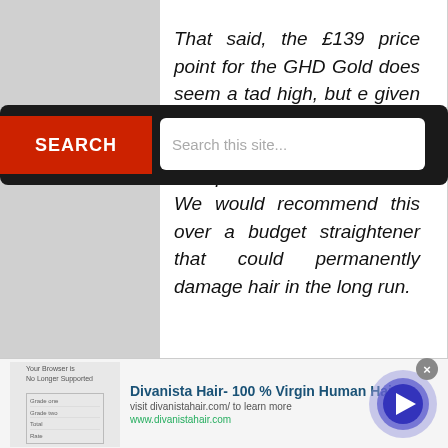That said, the £139 price point for the GHD Gold does seem a tad high, but it is worth it given that it is a high-quality straightener that both protects your hair and produces sleek results. We would recommend this over a budget straightener that could permanently damage hair in the long run.
Share :
Facebook Google+ Twitter
Related Posts :
[Figure (screenshot): Advertisement banner for Divanista Hair- 100% Virgin Human Hair with link to divanistahair.com]